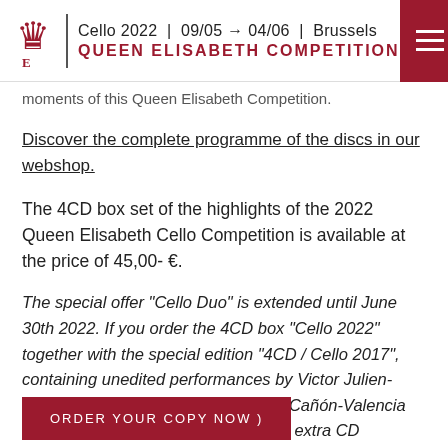Cello 2022 | 09/05 → 04/06 | Brussels
QUEEN ELISABETH COMPETITION
moments of this Queen Elisabeth Competition.
Discover the complete programme of the discs in our webshop.
The 4CD box set of the highlights of the 2022 Queen Elisabeth Cello Competition is available at the price of 45,00- €.
The special offer "Cello Duo" is extended until June 30th 2022. If you order the 4CD box "Cello 2022" together with the special edition "4CD / Cello 2017", containing unedited performances by Victor Julien-Laferrière, Yuya Okamoto, Santiago Cañón-Valencia and Ivan Karizna, you will receive an extra CD dedicated to another 2017 laureate.
ORDER YOUR COPY NOW )